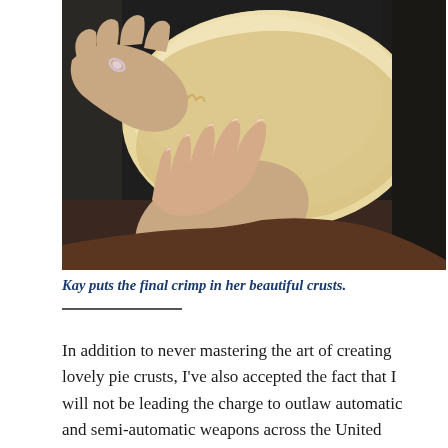[Figure (photo): Photograph of hands crimping pie crust dough on a dark surface. One hand wearing a silver ring is visible at the top left, and another hand with long fingernails is pressing the crust edge. The pale dough fills the center of the image.]
Kay puts the final crimp in her beautiful crusts.
In addition to never mastering the art of creating lovely pie crusts, I've also accepted the fact that I will not be leading the charge to outlaw automatic and semi-automatic weapons across the United States, will not be writing a bit